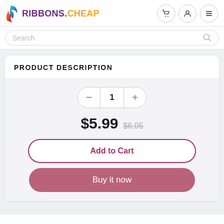[Figure (logo): Ribbons.Cheap logo with colorful flame/ribbon icon and purple/yellow text]
Search
PRODUCT DESCRIPTION
$5.99  $6.05
Add to Cart
Buy it now